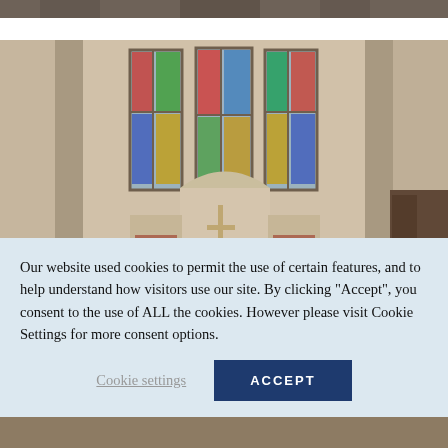[Figure (photo): Partial top strip of a photograph showing people, likely a group or congregation scene]
[Figure (photo): Interior of a church showing an ornate altar with colorful stained glass windows above it, Gothic stone architecture, candles, and congregation members seated in pews]
Our website used cookies to permit the use of certain features, and to help understand how visitors use our site. By clicking “Accept”, you consent to the use of ALL the cookies. However please visit Cookie Settings for more consent options.
Cookie settings
ACCEPT